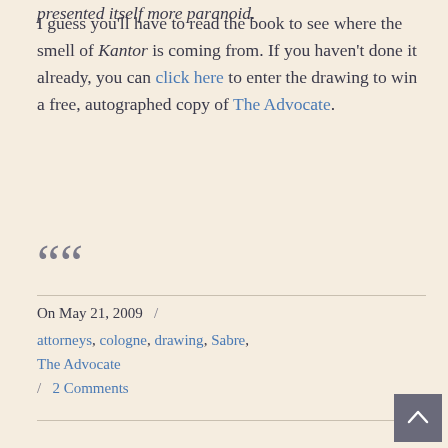presented itself more paranoid.
I guess you'll have to read the book to see where the smell of Kantor is coming from. If you haven't done it already, you can click here to enter the drawing to win a free, autographed copy of The Advocate.
““
On May 21, 2009  /  attorneys, cologne, drawing, Sabre, The Advocate  /  2 Comments